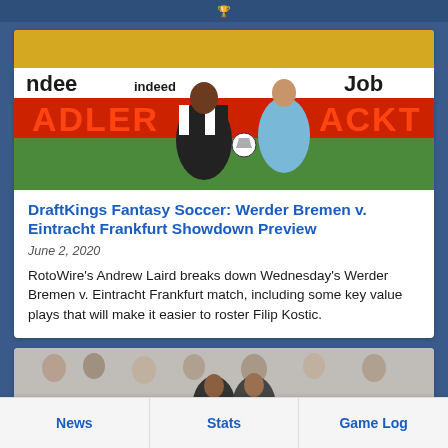[Figure (photo): Soccer match photo: two players competing for the ball, one in black and white stripes (Eintracht Frankfurt), one in light blue. Advertising boards in background with 'indeed' and 'Job' text and red 'ADLER' text.]
DraftKings Fantasy Soccer: Werder Bremen v. Eintracht Frankfurt Showdown Preview
June 2, 2020
RotoWire's Andrew Laird breaks down Wednesday's Werder Bremen v. Eintracht Frankfurt match, including some key value plays that will make it easier to roster Filip Kostic.
[Figure (photo): Soccer match photo: players in action with crowd in background, 'indeed' advertising board visible at bottom.]
News | Stats | Game Log